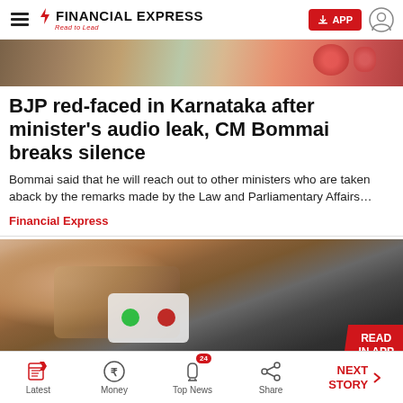Financial Express — Read to Lead
[Figure (photo): Top banner photo showing flowers and decorative elements]
BJP red-faced in Karnataka after minister's audio leak, CM Bommai breaks silence
Bommai said that he will reach out to other ministers who are taken aback by the remarks made by the Law and Parliamentary Affairs…
Financial Express
[Figure (photo): Close-up photo of a hand holding a phone showing an incoming call screen with green and red buttons on a dark background. A red badge in the bottom-right reads READ IN APP.]
Latest  Money  Top News  Share  NEXT STORY